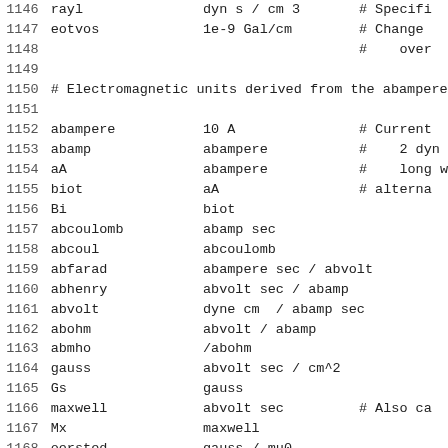1146   rayl                          dyn s / cm 3      # Specifi
1147   eotvos                         1e-9 Gal/cm       # Change
1148                                                    #    over
1149
1150   # Electromagnetic units derived from the abampere
1151
1152   abampere                       10 A              # Current
1153   abamp                          abampere          #    2 dyn
1154   aA                             abampere          #    long w
1155   biot                           aA                # alterna
1156   Bi                             biot
1157   abcoulomb                      abamp sec
1158   abcoul                         abcoulomb
1159   abfarad                        abampere sec / abvolt
1160   abhenry                        abvolt sec / abamp
1161   abvolt                         dyne cm  / abamp sec
1162   abohm                          abvolt / abamp
1163   abmho                          /abohm
1164   gauss                          abvolt sec / cm^2
1165   Gs                             gauss
1166   maxwell                        abvolt sec        # Also ca
1167   Mx                             maxwell
1168   oersted                        gauss / mu0